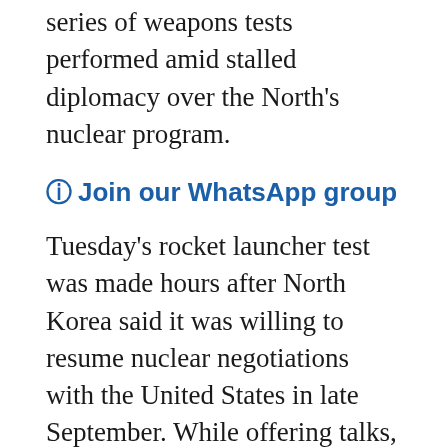series of weapons tests performed amid stalled diplomacy over the North's nuclear program.
⊙ Join our WhatsApp group
Tuesday's rocket launcher test was made hours after North Korea said it was willing to resume nuclear negotiations with the United States in late September. While offering talks, North Korea still warned its dealings with the U.S. may end if Washington fails to come to the negotiating table without new acceptable proposals.
Some experts said North Korea aims to wrest concessions from the United States once their diplomacy resumes.